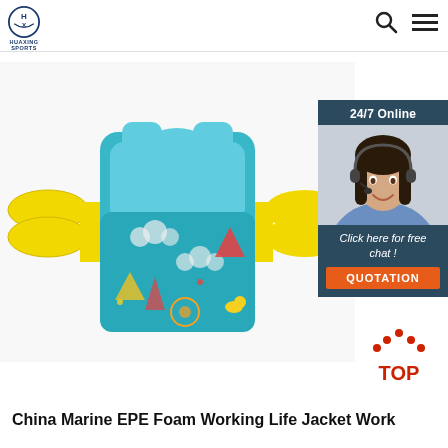[Figure (logo): Huaxing Sports circular logo with stylized letters and text 'HUAXING SPORTS' below]
[Figure (photo): Children's swim vest / life jacket with yellow foam arm floats and teal patterned body with cartoon designs]
[Figure (photo): Customer service representative with headset smiling, part of 24/7 Online chat widget]
24/7 Online
Click here for free chat !
QUOTATION
[Figure (other): Red TOP navigation arrow button]
China Marine EPE Foam Working Life Jacket Work